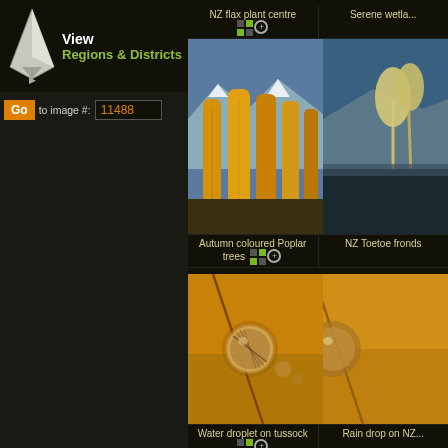[Figure (screenshot): Navigation panel with New Zealand map icon, 'View Regions & Districts' text, Go button with image number input field showing 11488, and photo gallery grid showing NZ nature photos: autumn poplar trees, NZ flax plant, serene wetland, NZ Toetoe fronds, water droplet on tussock, rain drop on NZ plant]
View
Regions & Districts
Go
to image #: 11488
NZ flax plant centre
Serene wetla...
Autumn coloured Poplar trees
NZ Toetoe fronds
Water droplet on tussock
Rain drop on NZ...